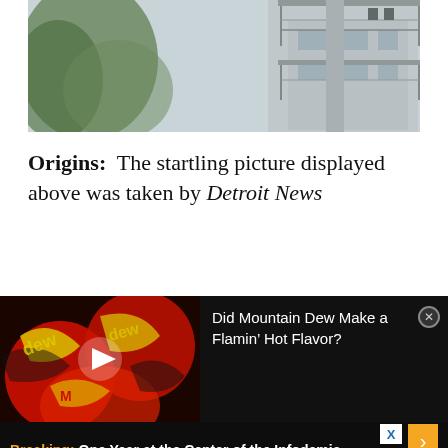[Figure (photo): Photograph of a modern building with balconies and railings, trees visible on the left side, light overcast sky]
Origins:  The startling picture displayed above was taken by Detroit News
[Figure (screenshot): Video overlay showing Mountain Dew Flamin' Hot cans with a play button, title reads 'Did Mountain Dew Make a Flamin' Hot Flavor?' with a close button]
Breaking: One Year at the Center of the Infodemic